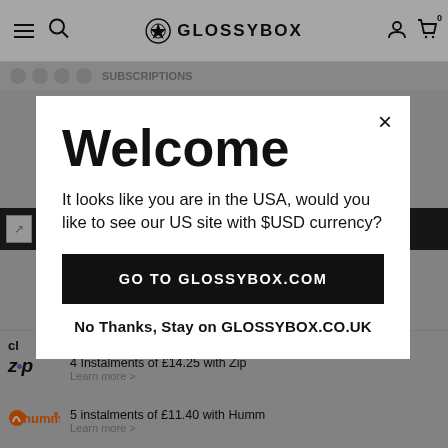GLOSSYBOX
[Figure (screenshot): Partial webpage background showing GLOSSYBOX website with navigation bar, sub-navigation, black promotional bar, and payment instalment options (Zip and Humm) partially visible behind the modal overlay.]
Welcome
It looks like you are in the USA, would you like to see our US site with $USD currency?
GO TO GLOSSYBOX.COM
No Thanks, Stay on GLOSSYBOX.CO.UK
4 Instalments of £14.25 with Zip
Learn more >
5 instalments of £11.40 with Humm
Learn more >